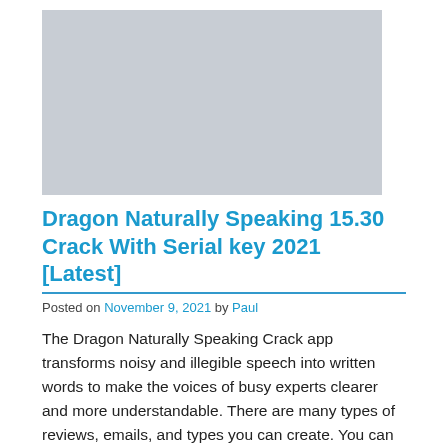[Figure (other): Placeholder grey rectangle image at top of article]
Dragon Naturally Speaking 15.30 Crack With Serial key 2021 [Latest]
Posted on November 9, 2021 by Paul
The Dragon Naturally Speaking Crack app transforms noisy and illegible speech into written words to make the voices of busy experts clearer and more understandable. There are many types of reviews, emails, and types you can create. You can convert spoken terms directly into text up to three times (3 times) faster than typing. Use Dragon NaturallySpeaking 15 Crack to create emails, reviews, and more with your voice. The use of an entirely new and upcoming speech engine that uses deep study technologies will allow users to determine and type more